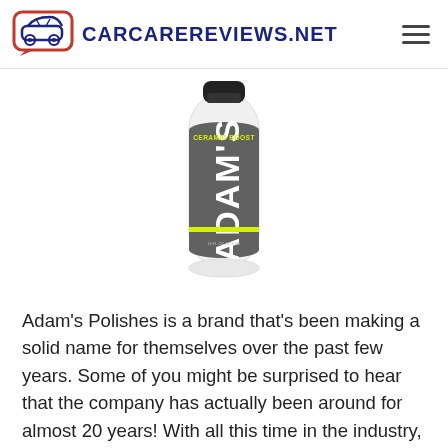CarCareReviews.net
[Figure (photo): Adam's Polishes Ceramic Boost product bottle, white with dark grey label showing 'ADAM'S' in large white letters and 'CERAMIC BOOST' text, with a black cap]
Adam's Polishes is a brand that's been making a solid name for themselves over the past few years. Some of you might be surprised to hear that the company has actually been around for almost 20 years! With all this time in the industry,